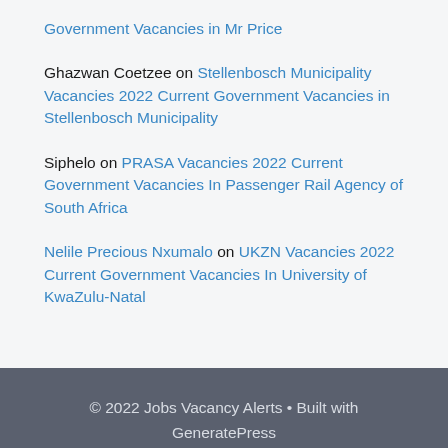Government Vacancies in Mr Price
Ghazwan Coetzee on Stellenbosch Municipality Vacancies 2022 Current Government Vacancies in Stellenbosch Municipality
Siphelo on PRASA Vacancies 2022 Current Government Vacancies In Passenger Rail Agency of South Africa
Nelile Precious Nxumalo on UKZN Vacancies 2022 Current Government Vacancies In University of KwaZulu-Natal
© 2022 Jobs Vacancy Alerts • Built with GeneratePress